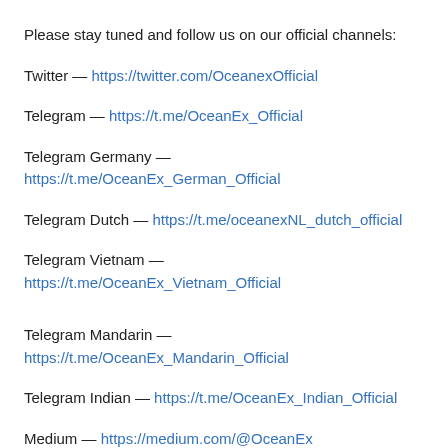Please stay tuned and follow us on our official channels:
Twitter — https://twitter.com/OceanexOfficial
Telegram — https://t.me/OceanEx_Official
Telegram Germany — https://t.me/OceanEx_German_Official
Telegram Dutch — https://t.me/oceanexNL_dutch_official
Telegram Vietnam — https://t.me/OceanEx_Vietnam_Official
Telegram Mandarin — https://t.me/OceanEx_Mandarin_Official
Telegram Indian — https://t.me/OceanEx_Indian_Official
Medium — https://medium.com/@OceanEx
Facebook —